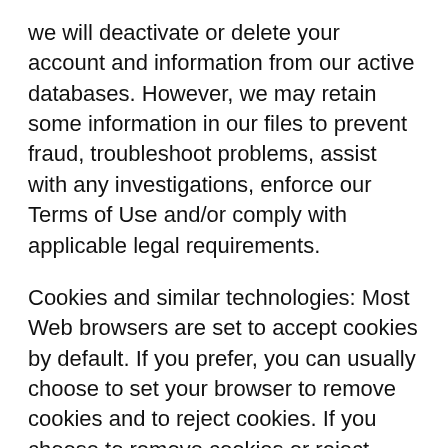we will deactivate or delete your account and information from our active databases. However, we may retain some information in our files to prevent fraud, troubleshoot problems, assist with any investigations, enforce our Terms of Use and/or comply with applicable legal requirements.
Cookies and similar technologies: Most Web browsers are set to accept cookies by default. If you prefer, you can usually choose to set your browser to remove cookies and to reject cookies. If you choose to remove cookies or reject cookies, this could affect certain features or services of our Website. To opt-out of interest-based advertising by advertisers on our